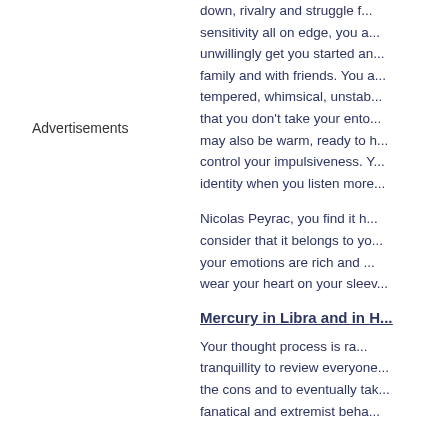Advertisements
down, rivalry and struggle f... sensitivity all on edge, you a... unwillingly get you started an... family and with friends. You a... tempered, whimsical, unstab... that you don't take your ento... may also be warm, ready to h... control your impulsiveness. Y... identity when you listen more...
Nicolas Peyrac, you find it h... consider that it belongs to yo... your emotions are rich and ... wear your heart on your sleev...
Mercury in Libra and in H...
Your thought process is ra... tranquillity to review everyone... the cons and to eventually tak... fanatical and extremist beha...